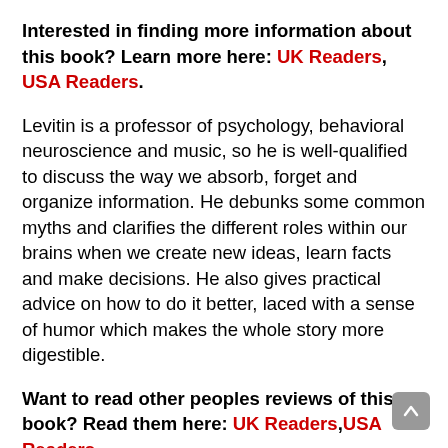Interested in finding more information about this book? Learn more here: UK Readers, USA Readers.
Levitin is a professor of psychology, behavioral neuroscience and music, so he is well-qualified to discuss the way we absorb, forget and organize information. He debunks some common myths and clarifies the different roles within our brains when we create new ideas, learn facts and make decisions. He also gives practical advice on how to do it better, laced with a sense of humor which makes the whole story more digestible.
Want to read other peoples reviews of this book? Read them here: UK Readers,USA Readers.